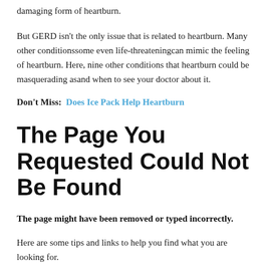damaging form of heartburn.
But GERD isn't the only issue that is related to heartburn. Many other conditionssome even life-threateningcan mimic the feeling of heartburn. Here, nine other conditions that heartburn could be masquerading asand when to see your doctor about it.
Don't Miss:  Does Ice Pack Help Heartburn
The Page You Requested Could Not Be Found
The page might have been removed or typed incorrectly.
Here are some tips and links to help you find what you are looking for.